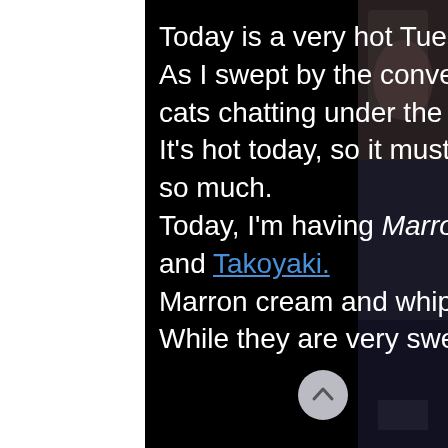Today is a very hot Tuesday. As I swept by the convenience store, I saw some cats chatting under the shade… It's hot today, so it must be bothersome to be outside so much. Today, I'm having Marron-Marron bread, potato salad and Takoyaki. Marron cream and whip cream spread over bread. While they are very sweet, they are just delicious…
[Figure (photo): Partial photo of a person visible on the right edge of the page against dark background]